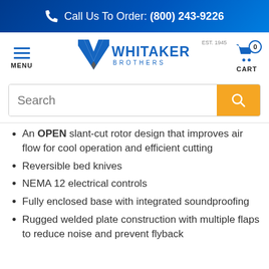Call Us To Order: (800) 243-9226
[Figure (logo): Whitaker Brothers logo with hamburger menu and cart icon]
[Figure (screenshot): Search bar with orange search button]
An OPEN slant-cut rotor design that improves air flow for cool operation and efficient cutting
Reversible bed knives
NEMA 12 electrical controls
Fully enclosed base with integrated soundproofing
Rugged welded plate construction with multiple flaps to reduce noise and prevent flyback